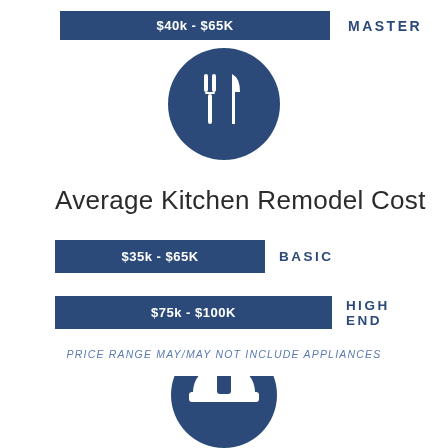[Figure (infographic): Dark blue bar showing '$40k - $65K' with label 'MASTER' to the right]
[Figure (illustration): White fork and knife icon on a dark navy blue circle background]
Average Kitchen Remodel Cost
[Figure (infographic): Dark blue bar showing '$35k - $65K' with label 'BASIC' to the right]
[Figure (infographic): Dark blue bar showing '$75k - $100K' with label 'HIGH END' to the right]
PRICE RANGE MAY/MAY NOT INCLUDE APPLIANCES
[Figure (illustration): Partially visible white hard hat icon on dark navy blue circle, cropped at bottom of page]